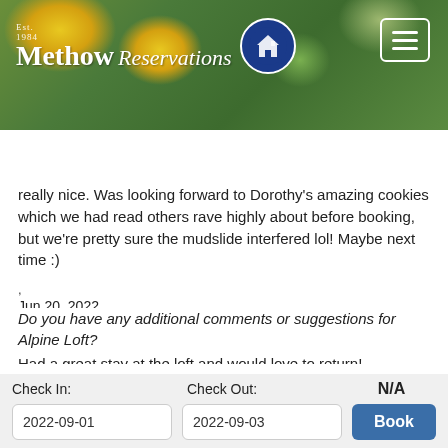[Figure (screenshot): Methow Reservations website header with logo, circular blue house icon, hamburger menu button, and flower/garden background photo]
Search  📱 509-996-2148
really nice. Was looking forward to Dorothy's amazing cookies which we had read others rave highly about before booking, but we're pretty sure the mudslide interfered lol! Maybe next time :)
,
Jun 20, 2022
Do you have any additional comments or suggestions for Alpine Loft?
Had a great stay at the loft and would love to return!
,
Jun 24, 2022
| Check In: | Check Out: | N/A |
| --- | --- | --- |
| 2022-09-01 | 2022-09-03 | Book |